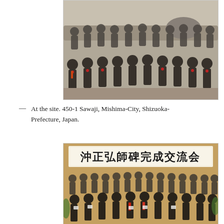[Figure (photo): Group photo of approximately 25 people seated and standing outdoors at 450-1 Sawaji, Mishima-City, Shizuoka-Prefecture, Japan. People are dressed in formal attire, some with red corsage pins. Rocky/garden background visible.]
— At the site. 450-1 Sawaji, Mishima-City, Shizuoka-Prefecture, Japan.
[Figure (photo): Indoor group photo of approximately 40 people at a formal event. A banner behind them shows Japanese characters reading '沖正弘師碑完成交流会'. People are in formal attire, seated in front rows and standing in back rows.]